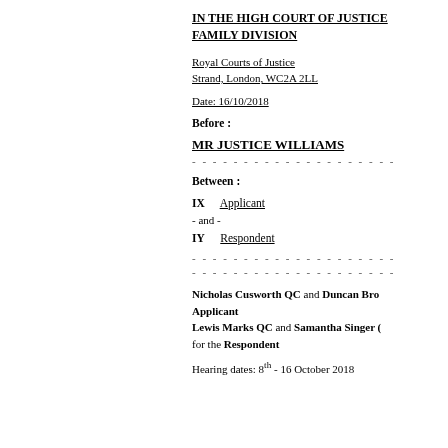IN THE HIGH COURT OF JUSTICE FAMILY DIVISION
Royal Courts of Justice
Strand, London, WC2A 2LL
Date: 16/10/2018
Before :
MR JUSTICE WILLIAMS
Between :
IX    Applicant
- and -
IY    Respondent
Nicholas Cusworth QC and Duncan Bro... for the Applicant
Lewis Marks QC and Samantha Singer (...) for the Respondent
Hearing dates: 8th - 16 October 2018